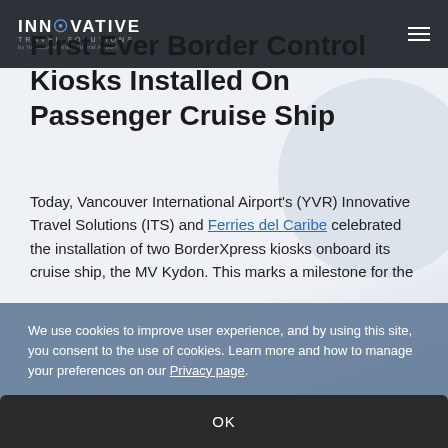INNOVATIVE TRAVEL SOLUTIONS by Vancouver International Airport
First Ever Border Control Kiosks Installed On Passenger Cruise Ship
Today, Vancouver International Airport's (YVR) Innovative Travel Solutions (ITS) and Ferries del Caribe celebrated the installation of two BorderXpress kiosks onboard its cruise ship, the MV Kydon. This marks a milestone for the
We use cookies to improve user experience, and by using this site, you consent to the use of cookies. Learn more and how to manage your preferences on our Privacy page.
OK